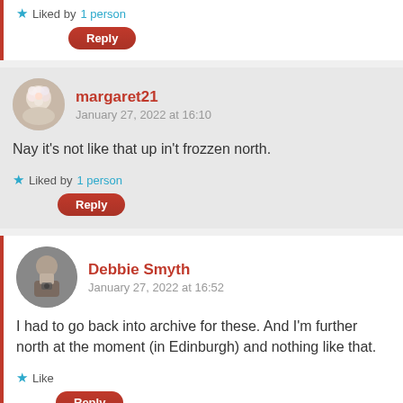Liked by 1 person
Reply
margaret21
January 27, 2022 at 16:10
Nay it's not like that up in't frozzen north.
Liked by 1 person
Reply
Debbie Smyth
January 27, 2022 at 16:52
I had to go back into archive for these. And I'm further north at the moment (in Edinburgh) and nothing like that.
Like
Reply